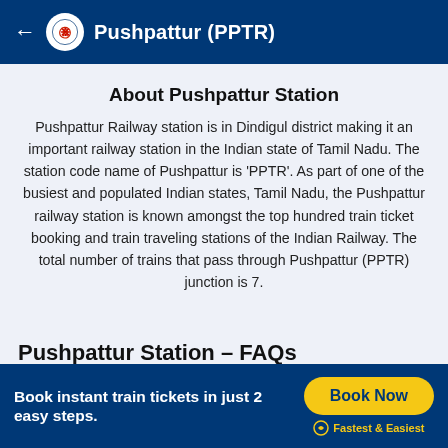Pushpattur (PPTR)
About Pushpattur Station
Pushpattur Railway station is in Dindigul district making it an important railway station in the Indian state of Tamil Nadu. The station code name of Pushpattur is 'PPTR'. As part of one of the busiest and populated Indian states, Tamil Nadu, the Pushpattur railway station is known amongst the top hundred train ticket booking and train traveling stations of the Indian Railway. The total number of trains that pass through Pushpattur (PPTR) junction is 7.
Pushpattur Station – FAQs
Book instant train tickets in just 2 easy steps. Book Now Fastest & Easiest